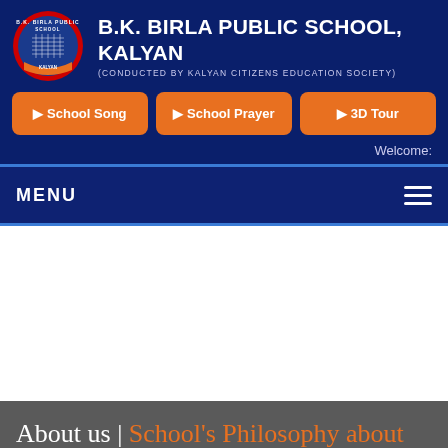[Figure (logo): B.K. Birla Public School circular emblem/logo in red and blue]
B.K. BIRLA PUBLIC SCHOOL, KALYAN
(CONDUCTED BY KALYAN CITIZENS EDUCATION SOCIETY)
School Song
School Prayer
3D Tour
Welcome:
MENU
About us | School's Philosophy about learning